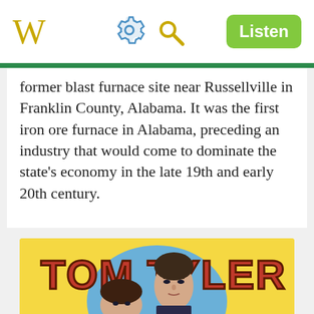W  [gear icon] [search icon]  Listen
former blast furnace site near Russellville in Franklin County, Alabama. It was the first iron ore furnace in Alabama, preceding an industry that would come to dominate the state's economy in the late 19th and early 20th century.
[Figure (photo): Movie poster for Tom Tyler showing a man and woman, with 'TOM TYLER' text in large red letters on a yellow background.]